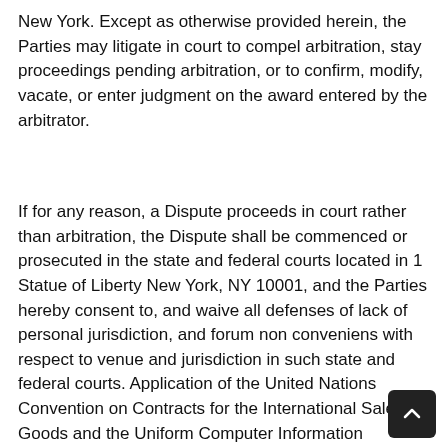New York. Except as otherwise provided herein, the Parties may litigate in court to compel arbitration, stay proceedings pending arbitration, or to confirm, modify, vacate, or enter judgment on the award entered by the arbitrator.
If for any reason, a Dispute proceeds in court rather than arbitration, the Dispute shall be commenced or prosecuted in the state and federal courts located in 1 Statue of Liberty New York, NY 10001, and the Parties hereby consent to, and waive all defenses of lack of personal jurisdiction, and forum non conveniens with respect to venue and jurisdiction in such state and federal courts. Application of the United Nations Convention on Contracts for the International Sale of Goods and the Uniform Computer Information Transaction Act (UCITA) is excluded from these Terms of Use.